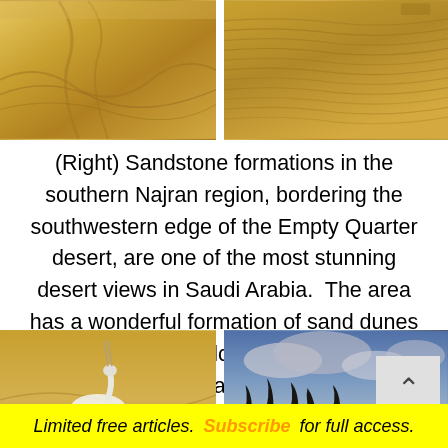[Figure (photo): Two desert/sand dune photos side by side at top of page]
(Right) Sandstone formations in the southern Najran region, bordering the southwestern edge of the Empty Quarter desert, are one of the most stunning desert views in Saudi Arabia.  The area has a wonderful formation of sand dunes as well as archaeological sites and rock formations.
[Figure (photo): Two photos side by side at bottom: left shows a white oryx in desert sand, right shows a desert landscape with trees and dramatic cloudy sky]
Limited free articles. Subscribe for full access.